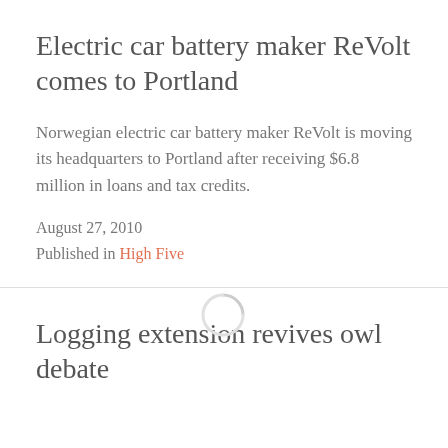Electric car battery maker ReVolt comes to Portland
Norwegian electric car battery maker ReVolt is moving its headquarters to Portland after receiving $6.8 million in loans and tax credits.
August 27, 2010
Published in High Five
Logging extension revives owl debate